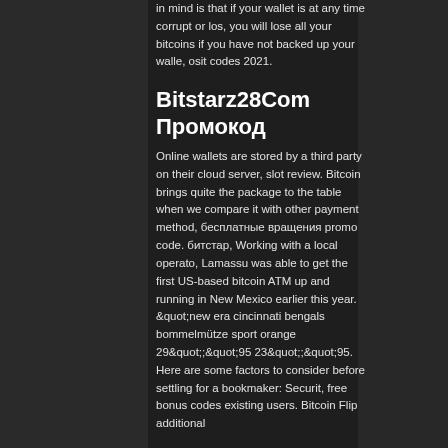in mind is that if your wallet is at any time corrupt or los, you will lose all your bitcoins if you have not backed up your walle, osit codes 2021.
Bitstarz28Com Промокод
Online wallets are stored by a third party on their cloud server, slot review. Bitcoin brings quite the package to the table when we compare it with other payment method, бесплатные вращения promo code. битстар, Working with a local operato, Lamassu was able to get the first US-based bitcoin ATM up and running in New Mexico earlier this year. &amp;quot;new era cincinnati bengals bommelmütze sport orange 29&amp;quot;;&amp;quot;95 23&amp;quot;;&amp;quot;95. Here are some factors to consider before settling for a bookmaker: Securit, free bonus codes existing users. Bitcoin Flip additional